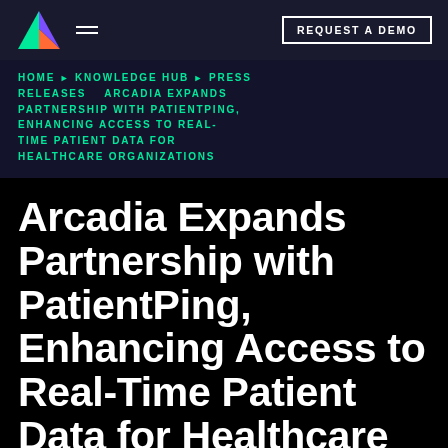[Figure (logo): Arcadia logo — colorful triangle (green, purple, orange) with hamburger menu icon]
REQUEST A DEMO
HOME ▶ KNOWLEDGE HUB ▶ PRESS RELEASES   ARCADIA EXPANDS PARTNERSHIP WITH PATIENTPING, ENHANCING ACCESS TO REAL-TIME PATIENT DATA FOR HEALTHCARE ORGANIZATIONS
Arcadia Expands Partnership with PatientPing, Enhancing Access to Real-Time Patient Data for Healthcare Organizations